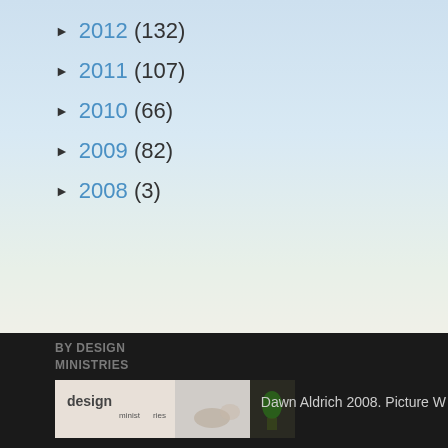► 2012 (132)
► 2011 (107)
► 2010 (66)
► 2009 (82)
► 2008 (3)
BY DESIGN MINISTRIES
[Figure (photo): Design Ministries banner image with three panels showing logo and hands]
HALO PUBLISHING
[Figure (logo): Halo Publishing International logo with colored dots (yellow, orange, blue, green)]
Dawn Aldrich 2008. Picture W